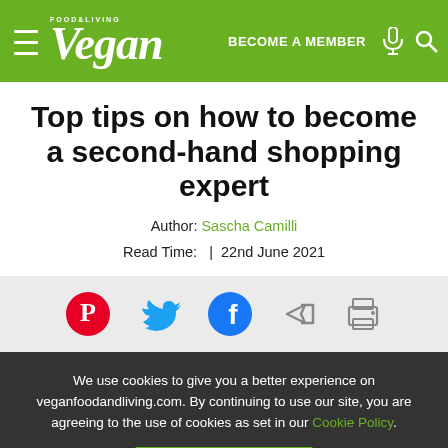Vegan Food & Living — BECOME A MEMBER
Top tips on how to become a second-hand shopping expert
Author: Sascha Camilli
Read Time:  | 22nd June 2021
[Figure (infographic): Social sharing icons: Pinterest (red circle), Twitter (blue bird), Facebook (blue circle), Share arrow, Print icon]
We use cookies to give you a better experience on veganfoodandliving.com. By continuing to use our site, you are agreeing to the use of cookies as set in our Cookie Policy.
OK, got it